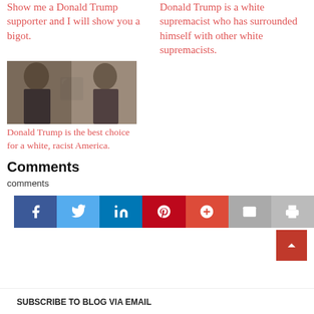Show me a Donald Trump supporter and I will show you a bigot.
Donald Trump is a white supremacist who has surrounded himself with other white supremacists.
[Figure (photo): Side-by-side sepia-toned photo of Donald Trump and Adolf Hitler, both with mouths open mid-speech]
Donald Trump is the best choice for a white, racist America.
Comments
comments
[Figure (infographic): Social sharing bar with Facebook, Twitter, LinkedIn, Pinterest, Google+, Email, and Print icons]
SUBSCRIBE TO BLOG VIA EMAIL